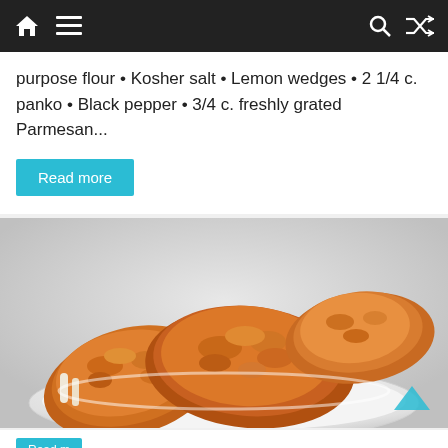Navigation bar with home, menu, search, and shuffle icons
purpose flour • Kosher salt • Lemon wedges • 2 1/4 c. panko • Black pepper • 3/4 c. freshly grated Parmesan...
Read more
[Figure (photo): Fried chicken pieces served on a white plate, golden-brown crispy coating, close-up food photography]
Read more button (partially visible at bottom)